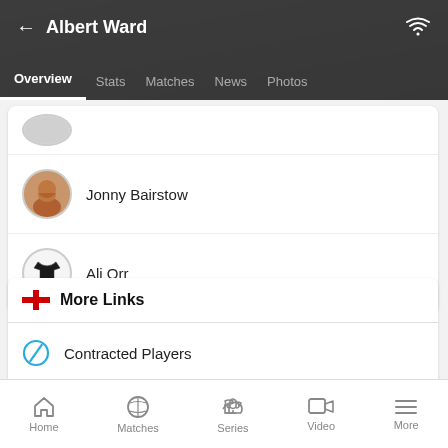← Albert Ward
Overview
Stats
Matches
News
Photos
Jonny Bairstow
Ali Orr
More Links
Contracted Players
Test Caps
Home  Matches  Series  Video  More